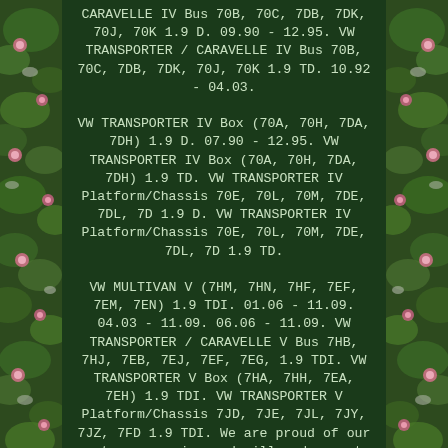CARAVELLE IV Bus 70B, 70C, 7DB, 7DK, 70J, 70K 1.9 D. 09.90 - 12.95. VW TRANSPORTER / CARAVELLE IV Bus 70B, 70C, 7DB, 7DK, 70J, 70K 1.9 TD. 10.92 - 04.03.
VW TRANSPORTER IV Box (70A, 70H, 7DA, 7DH) 1.9 D. 07.90 - 12.95. VW TRANSPORTER IV Box (70A, 70H, 7DA, 7DH) 1.9 TD. VW TRANSPORTER IV Platform/Chassis 70E, 70L, 70M, 7DE, 7DL, 7D 1.9 D. VW TRANSPORTER IV Platform/Chassis 70E, 70L, 70M, 7DE, 7DL, 7D 1.9 TD.
VW MULTIVAN V (7HM, 7HN, 7HF, 7EF, 7EM, 7EN) 1.9 TDI. 01.06 - 11.09. 04.03 - 11.09. 06.06 - 11.09. VW TRANSPORTER / CARAVELLE V Bus 7HB, 7HJ, 7EB, 7EJ, 7EF, 7EG, 1.9 TDI. VW TRANSPORTER V Box (7HA, 7HH, 7EA, 7EH) 1.9 TDI. VW TRANSPORTER V Platform/Chassis 7JD, 7JE, 7JL, 7JY, 7JZ, 7FD 1.9 TDI. We are proud of our customer service and will endeavor to